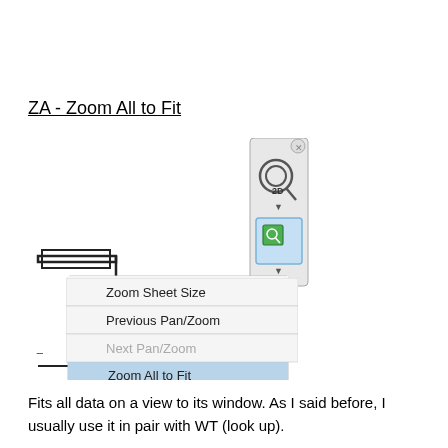ZA - Zoom All to Fit
[Figure (screenshot): Screenshot showing a CAD/schematic tool interface with a dropdown menu open from a zoom toolbar button. The dropdown lists: Zoom in Region (checked), Zoom Out(2x), Zoom to Fit, Zoom All to Fit (highlighted in blue), Zoom Sheet Size, Previous Pan/Zoom, Next Pan/Zoom (grayed out). Above the dropdown is a toolbar with a zoom icon (magnifying glass with 2D label) and a green highlighted zoom button. A partial schematic drawing is visible on the left.]
Fits all data on a view to its window. As I said before, I usually use it in pair with WT (look up).